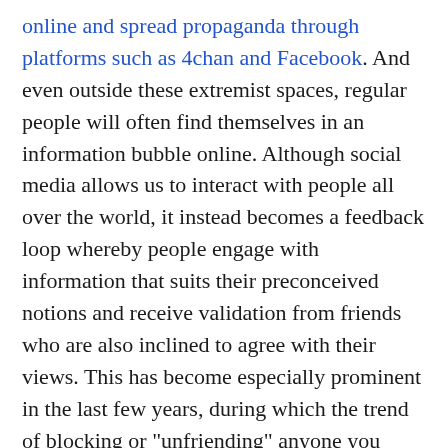online and spread propaganda through platforms such as 4chan and Facebook. And even outside these extremist spaces, regular people will often find themselves in an information bubble online. Although social media allows us to interact with people all over the world, it instead becomes a feedback loop whereby people engage with information that suits their preconceived notions and receive validation from friends who are also inclined to agree with their views. This has become especially prominent in the last few years, during which the trend of blocking or "unfriending" anyone you disagree with has gained popularity. Furthermore, algorithms and advertising have started to take into account the political views of the user, meaning that you are often being fed propaganda without even realizing it! Again, none of this is necessarily sinister. These companies are merely trying to make money by feeding their users what they want. Nevertheless, there's no question that hate and